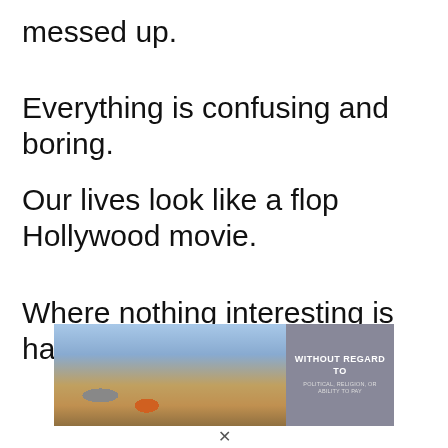messed up.
Everything is confusing and boring.
Our lives look like a flop Hollywood movie.
Where nothing interesting is happening.
[Figure (photo): Advertisement banner showing an airplane being loaded with cargo, with a gray panel on the right reading 'WITHOUT REGARD TO' and smaller text below.]